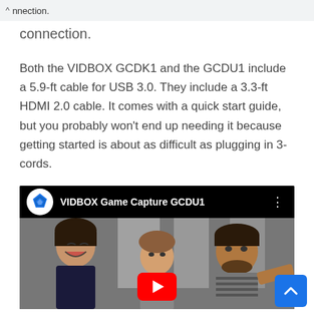connection.
Both the VIDBOX GCDK1 and the GCDU1 include a 5.9-ft cable for USB 3.0. They include a 3.3-ft HDMI 2.0 cable. It comes with a quick start guide, but you probably won't end up needing it because getting started is about as difficult as plugging in 3-cords.
[Figure (screenshot): YouTube video embed showing VIDBOX Game Capture GCDU1 with thumbnail of three people smiling and a red play button. Channel icon is a blue diamond logo.]